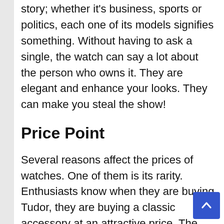story; whether it's business, sports or politics, each one of its models signifies something. Without having to ask a single, the watch can say a lot about the person who owns it. They are elegant and enhance your looks. They can make you steal the show!
Price Point
Several reasons affect the prices of watches. One of them is its rarity. Enthusiasts know when they are buying Tudor, they are buying a classic accessory at an attractive price. The price range starts from a hundred dollars to thousands of dollars. When it comes to Rolex prices, one knows what they wish to buy; the cheapest Rolex watch is the lady Oyster